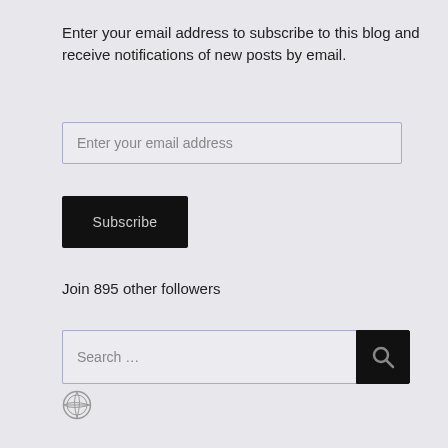Enter your email address to subscribe to this blog and receive notifications of new posts by email.
Enter your email address
Subscribe
Join 895 other followers
Search …
[Figure (logo): WordPress circular logo icon in gray outline style]